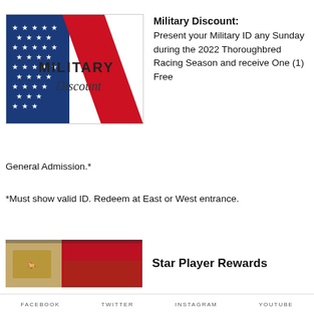[Figure (illustration): Military Discount promotional image with American flag (blue field with white stars, red and white stripes) and 'MILITARY Discount' text overlay]
Military Discount: Present your Military ID any Sunday during the 2022 Thoroughbred Racing Season and receive One (1) Free General Admission.*
*Must show valid ID. Redeem at East or West entrance.
[Figure (photo): Star Player Rewards promotional image with racetrack crowd and red background]
Star Player Rewards
FACEBOOK   TWITTER   INSTAGRAM   YOUTUBE